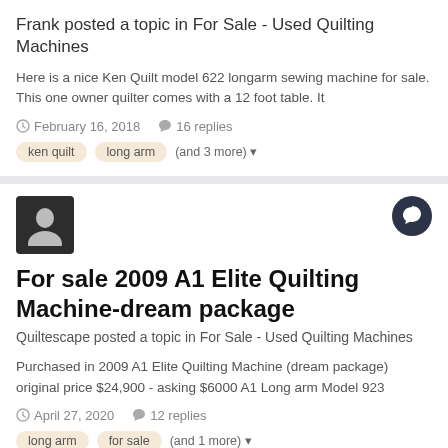Frank posted a topic in For Sale - Used Quilting Machines
Here is a nice Ken Quilt model 622 longarm sewing machine for sale. This one owner quilter comes with a 12 foot table. It
February 16, 2018   16 replies
ken quilt
long arm
(and 3 more)
For sale 2009 A1 Elite Quilting Machine-dream package
Quiltescape posted a topic in For Sale - Used Quilting Machines
Purchased in 2009 A1 Elite Quilting Machine (dream package) original price $24,900 - asking $6000 A1 Long arm Model 923
April 27, 2020   12 replies
long arm
for sale
(and 1 more)